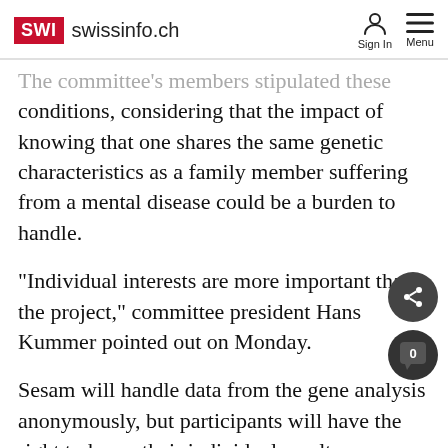SWI swissinfo.ch
The committee's members stipulated these conditions, considering that the impact of knowing that one shares the same genetic characteristics as a family member suffering from a mental disease could be a burden to handle.
"Individual interests are more important than the project," committee president Hans Kummer pointed out on Monday.
Sesam will handle data from the gene analysis anonymously, but participants will have the right to know their individual results.